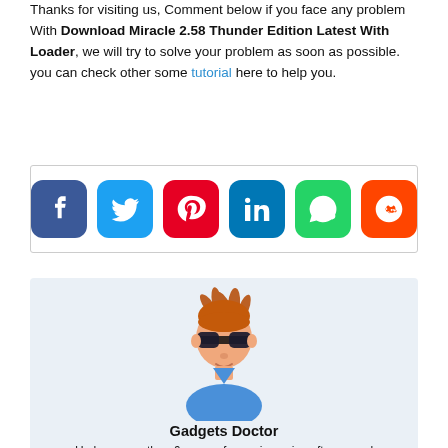Thanks for visiting us, Comment below if you face any problem With Download Miracle 2.58 Thunder Edition Latest With Loader, we will try to solve your problem as soon as possible. you can check other some tutorial here to help you.
[Figure (infographic): Social share buttons: Facebook, Twitter, Pinterest, LinkedIn, WhatsApp, Reddit]
[Figure (illustration): Avatar of a man with spiky brown hair wearing sunglasses and a blue shirt]
Gadgets Doctor
He has more than 6 years of experience in software and technology, obsessed with finding the best solution for a mobile device